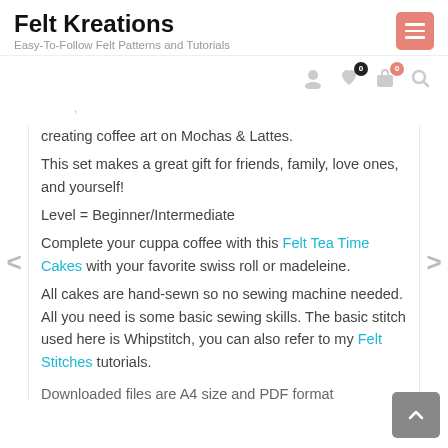Felt Kreations
Easy-To-Follow Felt Patterns and Tutorials
creating coffee art on Mochas & Lattes.
This set makes a great gift for friends, family, love ones, and yourself!
Level = Beginner/Intermediate
Complete your cuppa coffee with this Felt Tea Time Cakes with your favorite swiss roll or madeleine.
All cakes are hand-sewn so no sewing machine needed. All you need is some basic sewing skills. The basic stitch used here is Whipstitch, you can also refer to my Felt Stitches tutorials.
Downloaded files are A4 size and PDF format